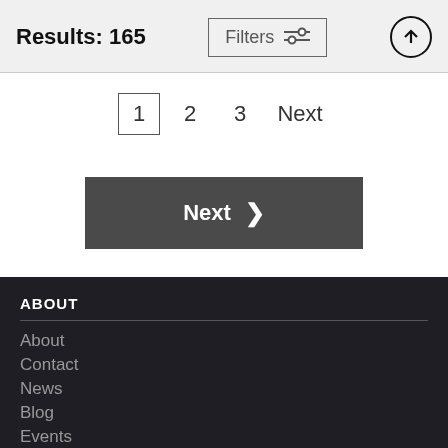Results: 165
Filters
1  2  3  Next
Next >
ABOUT
About
Contact
News
Blog
Events